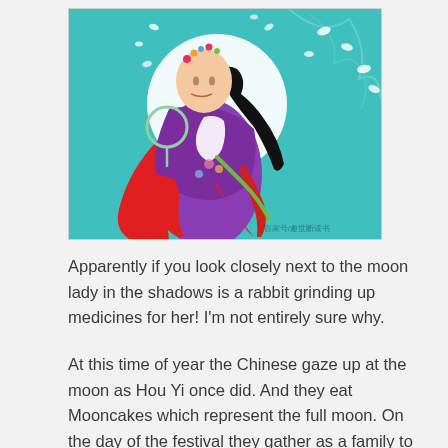[Figure (illustration): Illustration of a Chinese woman (moon goddess Chang'e) in a colorful traditional robe with flowing red and white sashes, holding a round fan, with long black hair adorned with flowers. She is set against a teal/turquoise background with a large white moon behind her, white cherry blossoms, and trailing ribbons. Small Chinese text watermark visible at bottom right.]
Apparently if you look closely next to the moon lady in the shadows is a rabbit grinding up medicines for her! I'm not entirely sure why.
At this time of year the Chinese gaze up at the moon as Hou Yi once did. And they eat Mooncakes which represent the full moon. On the day of the festival they gather as a family to pray, to give thanks for the